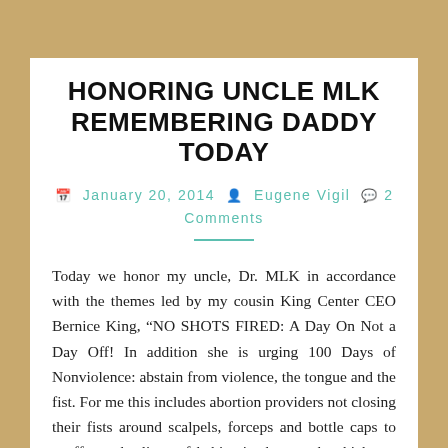HONORING UNCLE MLK REMEMBERING DADDY TODAY
January 20, 2014  Eugene Vigil  2 Comments
Today we honor my uncle, Dr. MLK in accordance with the themes led by my cousin King Center CEO Bernice King, “NO SHOTS FIRED: A Day On Not a Day Off! In addition she is urging 100 Days of Nonviolence: abstain from violence, the tongue and the fist. For me this includes abortion providers not closing their fists around scalpels, forceps and bottle caps to snuff out the lives of babies in the womb which not only kills the babies...